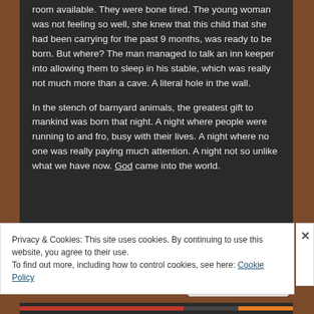room available. They were bone tired. The young woman was not feeling so well, she knew that this child that she had been carrying for the past 9 months, was ready to be born. But where?  The man managed to talk an inn keeper into allowing them to sleep in his stable, which was really not much more than a cave.  A literal hole in the wall.

In the stench of barnyard animals, the greatest gift to mankind was born that night. A night where people were running to and fro, busy with their lives. A night where no one was really paying much attention. A night not so unlike what we have now. God came into the world.
Privacy & Cookies: This site uses cookies. By continuing to use this website, you agree to their use.
To find out more, including how to control cookies, see here: Cookie Policy